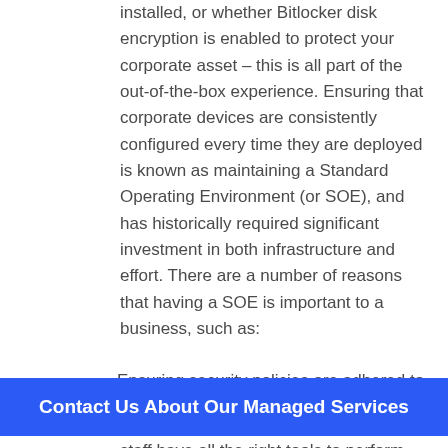installed, or whether Bitlocker disk encryption is enabled to protect your corporate asset – this is all part of the out-of-the-box experience. Ensuring that corporate devices are consistently configured every time they are deployed is known as maintaining a Standard Operating Environment (or SOE), and has historically required significant investment in both infrastructure and effort. There are a number of reasons that having a SOE is important to a business, such as:
Ensuring security policies are adhered to
Contact Us About Our Managed Services
staff have all the right tools to perform